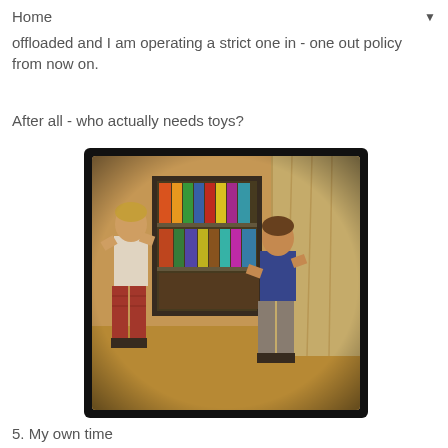Home ▼
offloaded and I am operating a strict one in - one out policy from now on.
After all - who actually needs toys?
[Figure (photo): Two young boys in a living room appear to be play-fighting in martial arts stances. One wears a white t-shirt and red plaid pants, the other wears a blue sleeveless shirt and grey pants. There is a bookshelf with colorful books and beige curtains in the background. The photo has a warm, vintage Instagram filter tone with a black border.]
5. My own time